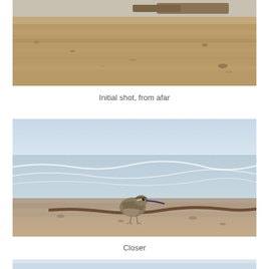[Figure (photo): A shorebird on a pebbly beach from afar, with sandy gravel ground visible. Top portion of image cropped.]
Initial shot, from afar
[Figure (photo): A closer photo of a shorebird (whimbrel or curlew) standing on a pebbly beach with ocean waves in the background.]
Closer
[Figure (photo): Top portion of another photo showing a blurred ocean/beach background, partially cropped at bottom of page.]